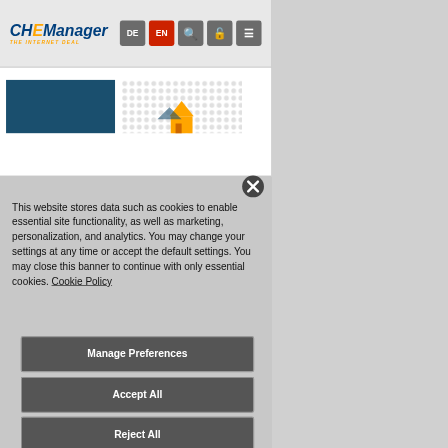[Figure (screenshot): CHEManager website navigation bar with logo on left, and DE, EN language buttons plus search, lock, and menu icons on right]
[Figure (screenshot): Partial website content with dark blue rectangle on left and dotted halftone pattern with orange graphic on right, partially obscured by cookie banner]
This website stores data such as cookies to enable essential site functionality, as well as marketing, personalization, and analytics. You may change your settings at any time or accept the default settings. You may close this banner to continue with only essential cookies. Cookie Policy
Manage Preferences
Accept All
Reject All